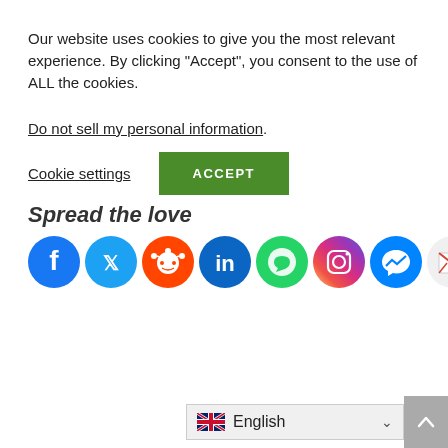Our website uses cookies to give you the most relevant experience. By clicking “Accept”, you consent to the use of ALL the cookies.
Do not sell my personal information.
Cookie settings
ACCEPT
Spread the love
[Figure (infographic): Row of social media share icons: Facebook, Twitter, Reddit, LinkedIn, WhatsApp, Instagram, Messenger, Gmail, More (share)]
English
⌃